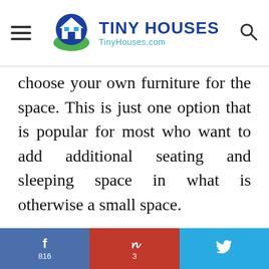TINY HOUSES TinyHouses.com
choose your own furniture for the space. This is just one option that is popular for most who want to add additional seating and sleeping space in what is otherwise a small space.
f 816  P 3  Twitter